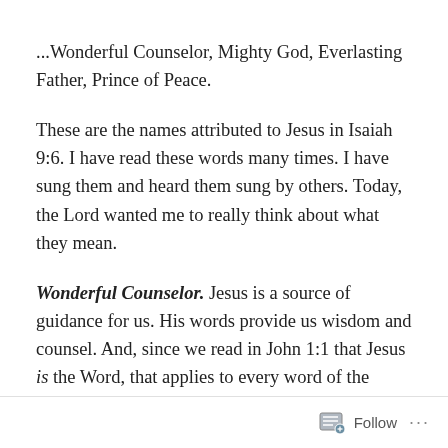...Wonderful Counselor, Mighty God, Everlasting Father, Prince of Peace.
These are the names attributed to Jesus in Isaiah 9:6. I have read these words many times. I have sung them and heard them sung by others. Today, the Lord wanted me to really think about what they mean.
Wonderful Counselor. Jesus is a source of guidance for us. His words provide us wisdom and counsel. And, since we read in John 1:1 that Jesus is the Word, that applies to every word of the Bible. Jesus is the Way, the Truth, and the Life. He is our guide. He shows us how we